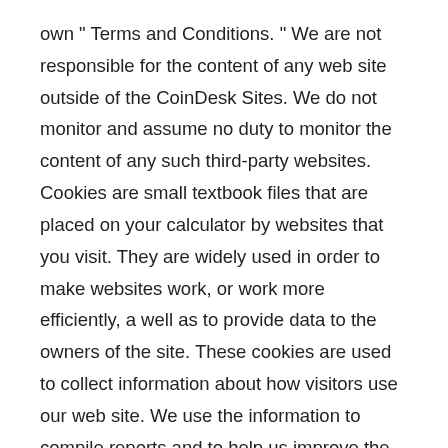own " Terms and Conditions. " We are not responsible for the content of any web site outside of the CoinDesk Sites. We do not monitor and assume no duty to monitor the content of any such third-party websites. Cookies are small textbook files that are placed on your calculator by websites that you visit. They are widely used in order to make websites work, or work more efficiently, a well as to provide data to the owners of the site. These cookies are used to collect information about how visitors use our web site. We use the information to compile reports and to help us improve the site. The cookies collect information in an anonymous form, including the number of visitors to the locate, where visitors have come to the site from and the pages they visited. By using our web site, you agree that we can place these types of cookies on your device. The ToU and the agreement formed hereby ( " Agreement " ) shall be governed by, and construed and enforced in accord with, the laws of the State of New York, without respect to conflicts of laws provisions. Unless otherwise agreed in write by you and us, any dispute arising out of or relating to the Agreement